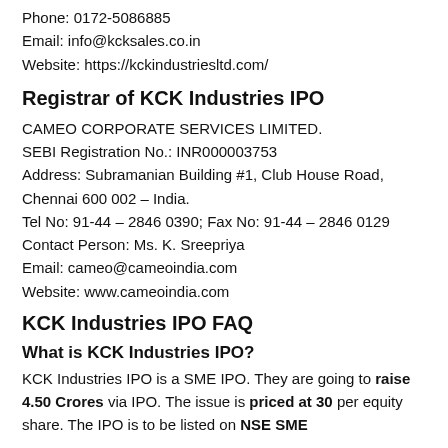Phone: 0172-5086885
Email: info@kcksales.co.in
Website: https://kckindustriesltd.com/
Registrar of KCK Industries IPO
CAMEO CORPORATE SERVICES LIMITED.
SEBI Registration No.: INR000003753
Address: Subramanian Building #1, Club House Road, Chennai 600 002 – India.
Tel No: 91-44 – 2846 0390; Fax No: 91-44 – 2846 0129
Contact Person: Ms. K. Sreepriya
Email: cameo@cameoindia.com
Website: www.cameoindia.com
KCK Industries IPO FAQ
What is KCK Industries IPO?
KCK Industries IPO is a SME IPO. They are going to raise 4.50 Crores via IPO. The issue is priced at 30 per equity share. The IPO is to be listed on NSE SME.